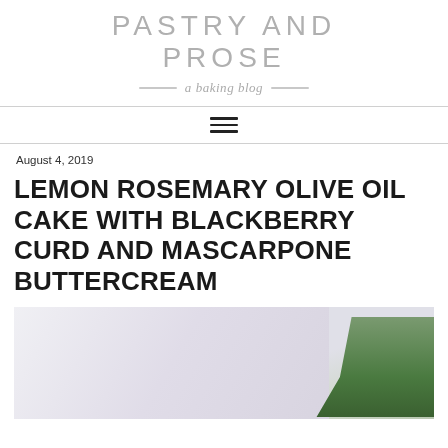PASTRY AND PROSE
a baking blog
August 4, 2019
LEMON ROSEMARY OLIVE OIL CAKE WITH BLACKBERRY CURD AND MASCARPONE BUTTERCREAM
[Figure (photo): Close-up photo of a white frosted cake with green rosemary sprigs visible on the right side, light and airy background]